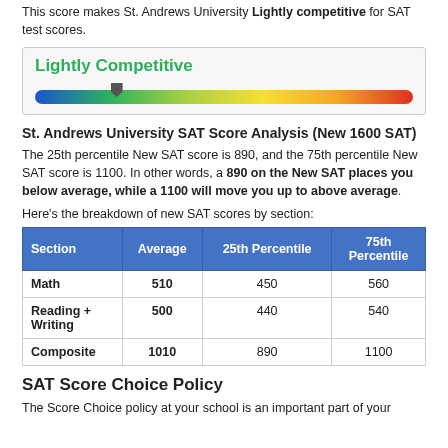This score makes St. Andrews University Lightly competitive for SAT test scores.
[Figure (infographic): Competitiveness gauge bar showing 'Lightly Competitive' label in green, with a color gradient bar from blue to red and a marker at approximately 20% from left.]
St. Andrews University SAT Score Analysis (New 1600 SAT)
The 25th percentile New SAT score is 890, and the 75th percentile New SAT score is 1100. In other words, a 890 on the New SAT places you below average, while a 1100 will move you up to above average.
Here's the breakdown of new SAT scores by section:
| Section | Average | 25th Percentile | 75th Percentile |
| --- | --- | --- | --- |
| Math | 510 | 450 | 560 |
| Reading + Writing | 500 | 440 | 540 |
| Composite | 1010 | 890 | 1100 |
SAT Score Choice Policy
The Score Choice policy at your school is an important part of your